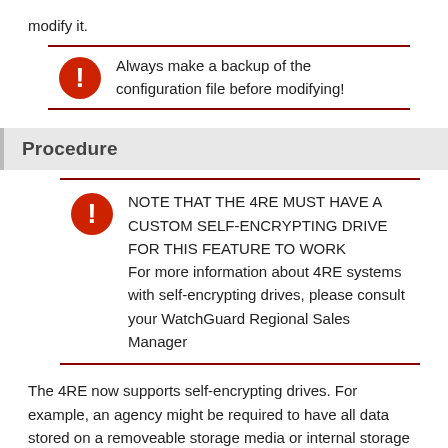modify it.
Always make a backup of the configuration file before modifying!
Procedure
NOTE THAT THE 4RE MUST HAVE A CUSTOM SELF-ENCRYPTING DRIVE FOR THIS FEATURE TO WORK
For more information about 4RE systems with self-encrypting drives, please consult your WatchGuard Regional Sales Manager
The 4RE now supports self-encrypting drives. For example, an agency might be required to have all data stored on a removeable storage media or internal storage media to be encrypted to meet compliance requirements. This feature is supported by adding the following values in the configuration